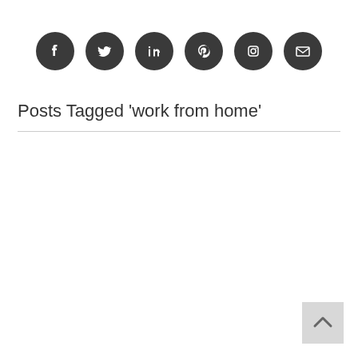[Figure (infographic): Six dark circular social media icon buttons in a row: Facebook, Twitter, LinkedIn, Pinterest, Instagram, Email/envelope]
Posts Tagged ‘work from home’
[Figure (other): Back to top button (grey square with upward chevron arrow) in bottom-right corner]